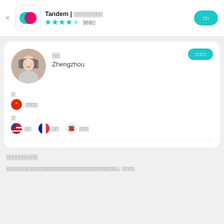Tandem | 언어교환 파트너 찾기  ★★★★☆ 389개
[Figure (screenshot): Tandem app profile card showing user from Zhengzhou with Chinese native language and English, French, Korean learning languages]
전 세계 친구 사귀기
전 세계 사람들과 대화하고 외국어를 배우며 소중한 친구를 사귀어 보세요... 더 보기